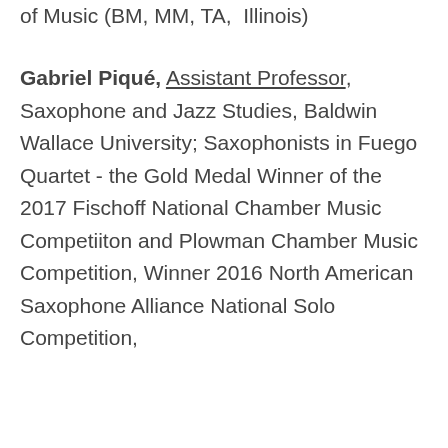of Music (BM, MM, TA, Illinois)
Gabriel Piqué, Assistant Professor, Saxophone and Jazz Studies, Baldwin Wallace University; Saxophonists in Fuego Quartet - the Gold Medal Winner of the 2017 Fischoff National Chamber Music Competiiton and Plowman Chamber Music Competition, Winner 2016 North American Saxophone Alliance National Solo Competition, Vandoren Artist, member of The Moanin' Frogs saxophone sextet (DMA in progress, TA, Illinois)
Cookie Notice
We use Cookies on this site to enhance your experience and improve our marketing efforts. Click on "About Cookies" to learn more. By continuing to browse without changing your browser settings to block or delete Cookies, you agree to the storing of Cookies and related technologies on your device. University of Illinois Web Privacy Notice
Dr. Nicki Roman, Assistant Professor, University